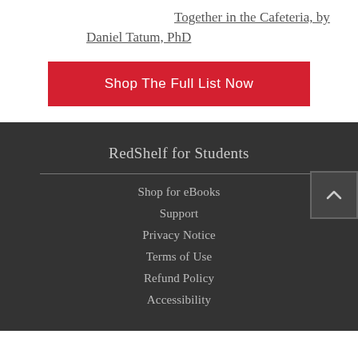Together in the Cafeteria, by Daniel Tatum, PhD
Shop The Full List Now
RedShelf for Students
Shop for eBooks
Support
Privacy Notice
Terms of Use
Refund Policy
Accessibility